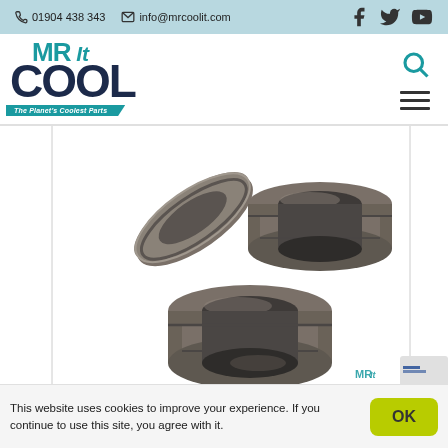01904 438 343 | info@mrcoolit.com
[Figure (logo): MR Cool IT logo with teal text and dark navy COOL lettering, tagline 'The Planet's Coolest Parts']
[Figure (photo): Three mechanical seal rings made of metal, arranged in a triangular composition on white background]
This website uses cookies to improve your experience. If you continue to use this site, you agree with it.